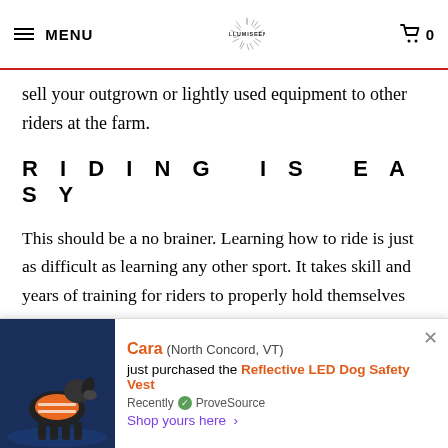MENU | ILLUMISEEN | 0
sell your outgrown or lightly used equipment to other riders at the farm.
RIDING IS EASY
This should be a no brainer. Learning how to ride is just as difficult as learning any other sport. It takes skill and years of training for riders to properly hold themselves upright and control their horse. As Eliza Gaynor-Minded says “it’s amazing what goes into making something
[Figure (screenshot): Notification popup showing Cara from North Concord, VT just purchased the Reflective LED Dog Safety Vest. Recently verified by ProveSource. Shop yours here link. Image shows a dog wearing an orange safety vest.]